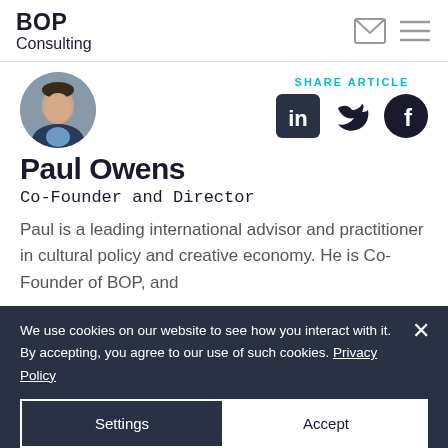BOP Consulting
[Figure (photo): Circular profile photo of Paul Owens, a man in a dark suit and light blue shirt]
SHARE ARTICLE
[Figure (logo): LinkedIn, Twitter, and Facebook social share icons]
Paul Owens
Co-Founder and Director
Paul is a leading international advisor and practitioner in cultural policy and creative economy. He is Co-Founder of BOP, and
We use cookies on our website to see how you interact with it. By accepting, you agree to our use of such cookies. Privacy Policy